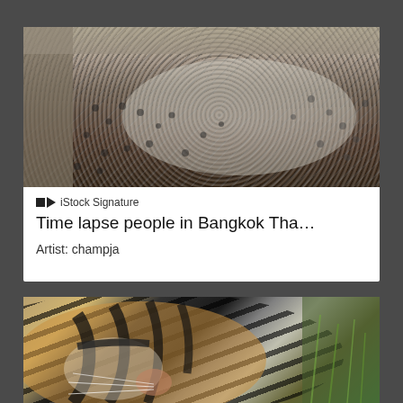[Figure (photo): Aerial/elevated view of a large crowd of people with many black and white panda figures/sculptures on the ground, Bangkok Thailand]
iStock Signature
Time lapse people in Bangkok Tha…
Artist: champja
[Figure (photo): Close-up photograph of a tiger's face/head, showing orange fur with black stripes, with grass in the background]